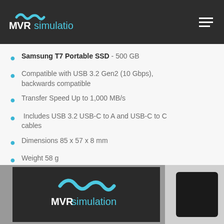MVRsimulation
Samsung T7 Portable SSD - 500 GB
Compatible with USB 3.2 Gen2 (10 Gbps), backwards compatible
Transfer Speed Up to 1,000 MB/s
Includes USB 3.2 USB-C to A and USB-C to C cables
Dimensions 85 x 57 x 8 mm
Weight 58 g
[Figure (photo): Photo of MVRsimulation branded hardware product box and a Samsung T7 portable SSD device]